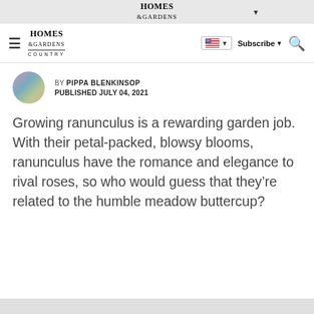HOMES & GARDENS
[Figure (logo): Homes & Gardens Country logo in navigation bar]
BY PIPPA BLENKINSOP
PUBLISHED JULY 04, 2021
Growing ranunculus is a rewarding garden job. With their petal-packed, blowsy blooms, ranunculus have the romance and elegance to rival roses, so who would guess that they're related to the humble meadow buttercup?